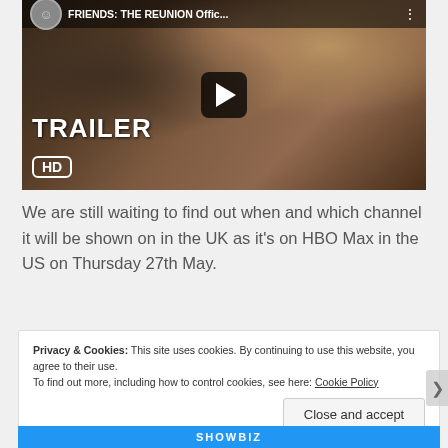[Figure (screenshot): YouTube video thumbnail for FRIENDS: THE REUNION Official Trailer HD with play button overlay, TRAILER HD badge, and group selfie photo]
We are still waiting to find out when and which channel it will be shown on in the UK as it's on HBO Max in the US on Thursday 27th May.
Privacy & Cookies: This site uses cookies. By continuing to use this website, you agree to their use.
To find out more, including how to control cookies, see here: Cookie Policy
Close and accept